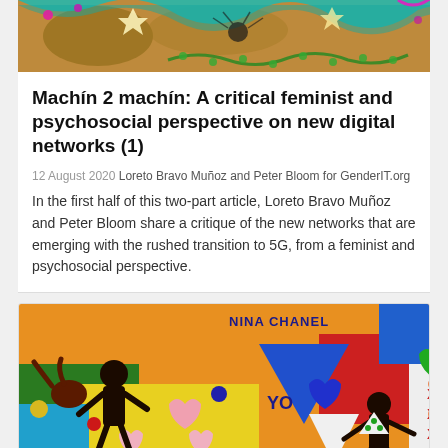[Figure (illustration): Colorful abstract/indigenous art with decorative elements in teal, magenta, brown, and green tones — top portion of an article card]
Machín 2 machín: A critical feminist and psychosocial perspective on new digital networks (1)
12 August 2020 Loreto Bravo Muñoz and Peter Bloom for GenderIT.org
In the first half of this two-part article, Loreto Bravo Muñoz and Peter Bloom share a critique of the new networks that are emerging with the rushed transition to 5G, from a feminist and psychosocial perspective.
[Figure (illustration): Colorful figurative painting with bold geometric shapes, hearts, figures, and text reading 'NINA CHANEL' and 'YO' on orange, green, red, yellow, blue background]